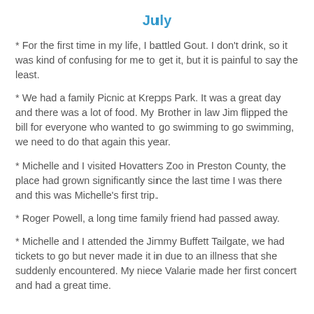July
* For the first time in my life, I battled Gout. I don't drink, so it was kind of confusing for me to get it, but it is painful to say the least.
* We had a family Picnic at Krepps Park. It was a great day and there was a lot of food. My Brother in law Jim flipped the bill for everyone who wanted to go swimming to go swimming, we need to do that again this year.
* Michelle and I visited Hovatters Zoo in Preston County, the place had grown significantly since the last time I was there and this was Michelle's first trip.
* Roger Powell, a long time family friend had passed away.
* Michelle and I attended the Jimmy Buffett Tailgate, we had tickets to go but never made it in due to an illness that she suddenly encountered. My niece Valarie made her first concert and had a great time.